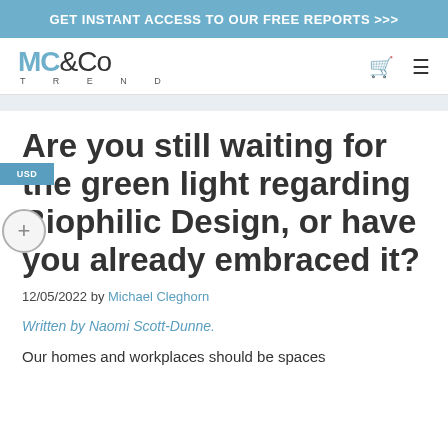GET INSTANT ACCESS TO OUR FREE REPORTS >>>
[Figure (logo): MC&Co Trend logo with shopping cart and hamburger menu icons]
Are you still waiting for the green light regarding Biophilic Design, or have you already embraced it?
12/05/2022 by Michael Cleghorn
Written by Naomi Scott-Dunne.
Our homes and workplaces should be spaces